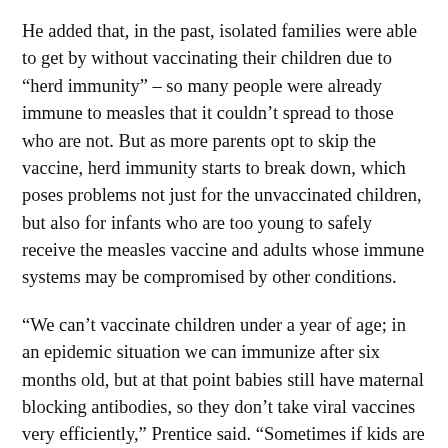He added that, in the past, isolated families were able to get by without vaccinating their children due to “herd immunity” – so many people were already immune to measles that it couldn’t spread to those who are not. But as more parents opt to skip the vaccine, herd immunity starts to break down, which poses problems not just for the unvaccinated children, but also for infants who are too young to safely receive the measles vaccine and adults whose immune systems may be compromised by other conditions.
“We can’t vaccinate children under a year of age; in an epidemic situation we can immunize after six months old, but at that point babies still have maternal blocking antibodies, so they don’t take viral vaccines very efficiently,” Prentice said. “Sometimes if kids are sick enough they have to be admitted to the hospital, and then I have to think about the other children there, the nurses there.”
Laramie County School District No. 1 Head Nurse Janet Farmer said all the district’s students must have documentation showing they’ve received two doses of the measles mumps...